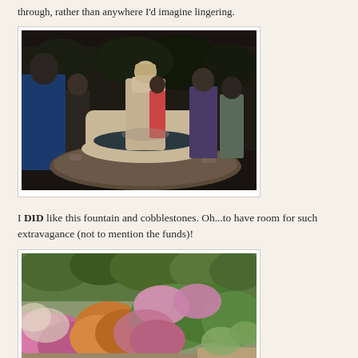through, rather than anywhere I'd imagine lingering.
[Figure (photo): Outdoor stone fountain with cobblestone circular surround, people milling around, indoor garden show setting with trees and shrubs in background.]
I DID like this fountain and cobblestones. Oh...to have room for such extravagance (not to mention the funds)!
[Figure (photo): Lush garden display with colorful flowering heather and shrubs in pink, orange, and green hues, garden show setting.]